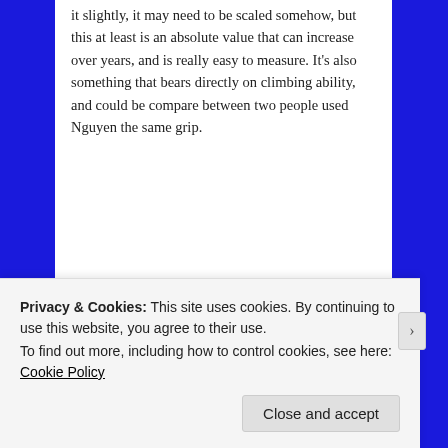it slightly, it may need to be scaled somehow, but this at least is an absolute value that can increase over years, and is really easy to measure. It's also something that bears directly on climbing ability, and could be compare between two people used Nguyen the same grip.
★ Like
Reply
[Figure (screenshot): Partial advertisement banner, dark background with logo, REPORT THIS AD label below]
Privacy & Cookies: This site uses cookies. By continuing to use this website, you agree to their use.
To find out more, including how to control cookies, see here: Cookie Policy
Close and accept